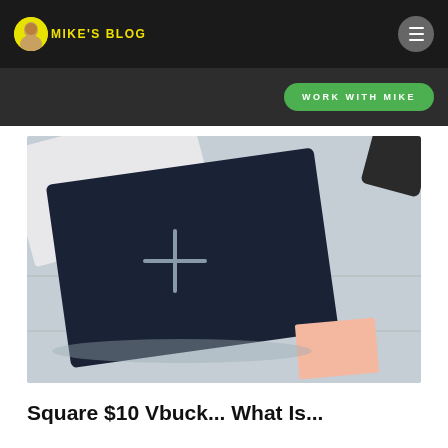MIKE'S BLOG
WORK WITH MIKE
[Figure (photo): A dark navy wallet with a cross/plus symbol on it, lying on a light grey surface with some papers nearby]
Square $10 Vbuck...